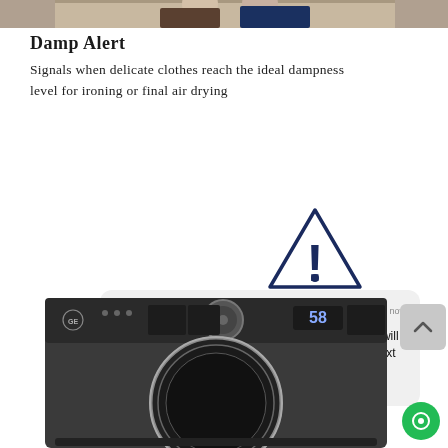[Figure (photo): Top partial photo strip showing people in background]
Damp Alert
Signals when delicate clothes reach the ideal dampness level for ironing or final air drying
[Figure (screenshot): GE Appliances push notification card reading: 'A vent restriction has been detected. Your DRYER will continue the cycle. Please check the vent before next use. Swipe for more' with a warning triangle icon overlay]
[Figure (photo): GE front-load dryer appliance in dark graphite color showing control panel and circular door]